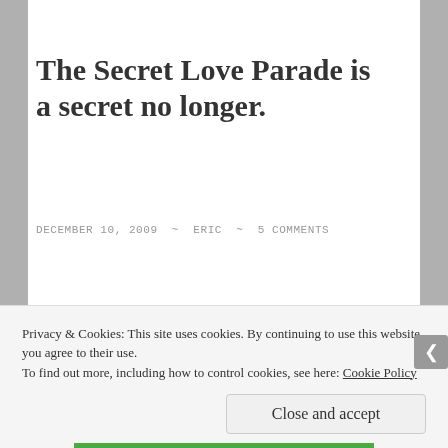The Secret Love Parade is a secret no longer.
DECEMBER 10, 2009 ~ ERIC ~ 5 COMMENTS
[Figure (photo): Broken/missing image placeholder with small image icon in top-left corner]
So, I have one tiny, insignificant piece of news (if you can even
Privacy & Cookies: This site uses cookies. By continuing to use this website, you agree to their use.
To find out more, including how to control cookies, see here: Cookie Policy
Close and accept